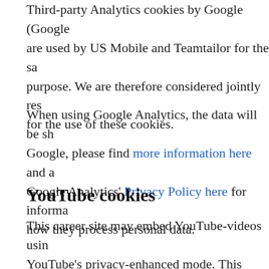Third-party Analytics cookies by Google (Google Analytics) are used by US Mobile and Teamtailor for the same purpose. We are therefore considered jointly responsible for the use of these cookies.
When using Google Analytics, the data will be shared with Google, please find more information here and also Google Analytics' Privacy Policy here for information on how they process personal data.
YouTube cookies
This career site may embed YouTube-videos using YouTube's privacy-enhanced mode. This mode may set marketing cookies on your computer once you click on the YouTube video player.